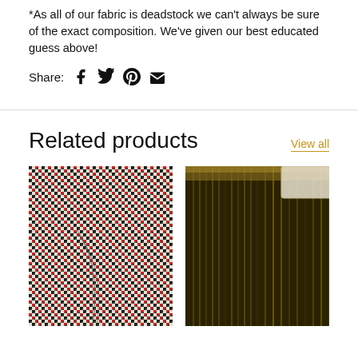*As all of our fabric is deadstock we can't always be sure of the exact composition. We've given our best educated guess above!
Share: [Facebook] [Twitter] [Pinterest] [Email]
Related products
View all
[Figure (photo): Close-up of houndstooth patterned fabric in red, black, and white]
[Figure (photo): Close-up of olive/khaki colored fabric roll or bundle showing texture]